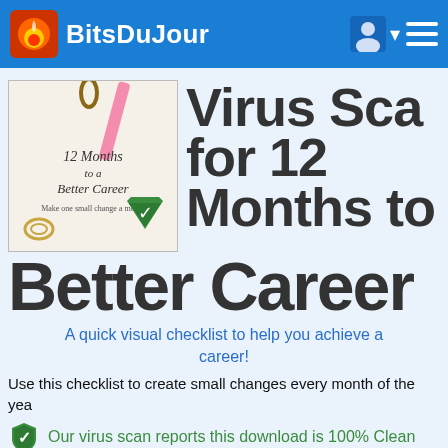BitsDuJour
[Figure (illustration): Product cover image for '12 Months to a Better Career – Make one small change a month' with a green shield checkmark overlay]
Virus Scan for 12 Months to a Better Career
A quick visual checklist to help you achieve a better career!
Use this checklist to create small changes every month of the year
Our virus scan reports this download is 100% Clean